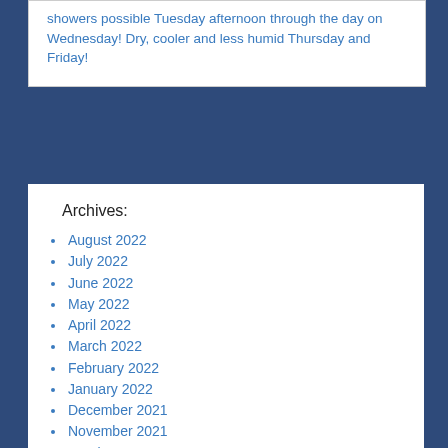showers possible Tuesday afternoon through the day on Wednesday! Dry, cooler and less humid Thursday and Friday!
Archives:
August 2022
July 2022
June 2022
May 2022
April 2022
March 2022
February 2022
January 2022
December 2021
November 2021
October 2021
September 2021
August 2021
July 2021
June 2021